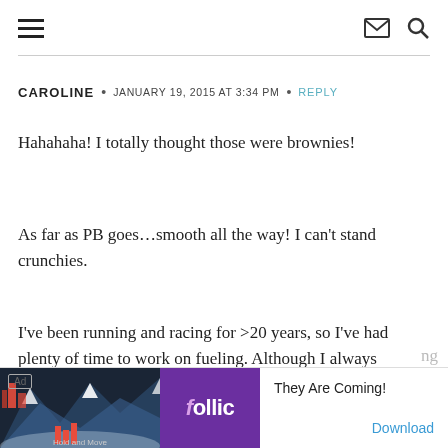≡  ✉ 🔍
CAROLINE • JANUARY 19, 2015 AT 3:34 PM • REPLY
Hahahaha! I totally thought those were brownies!
As far as PB goes…smooth all the way! I can't stand crunchies.
I've been running and racing for >20 years, so I've had plenty of time to work on fueling. Although I always
[Figure (screenshot): Ad banner at bottom of page. Shows 'Ad' label, a mountain/outdoor game image on the left, a purple Follic logo in center, and text 'They Are Coming!' with a 'Download' link on the right.]